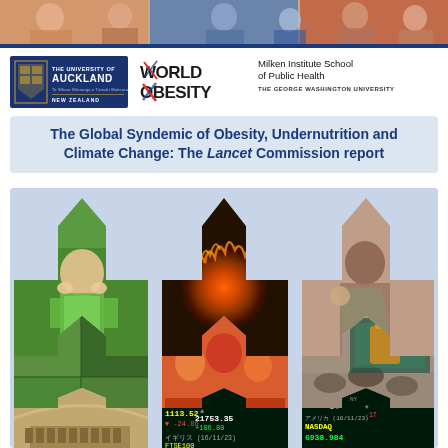[Figure (photo): Top banner with photographs of people]
[Figure (logo): University of Auckland logo]
[Figure (logo): World Obesity Federation logo]
Milken Institute School of Public Health THE GEORGE WASHINGTON UNIVERSITY
The Global Syndemic of Obesity, Undernutrition and Climate Change: The Lancet Commission report
[Figure (photo): Collage of photos in arrow/chevron shapes showing a boy eating, earth on fire, a woman with child, agricultural field, market, cattle, food, a concert hall, and stock market tickers including FTSE100 1113.52 -24.86, 21753.35 +106.80, NY NASDAQ 6938.984, アメリカ, イギリス]